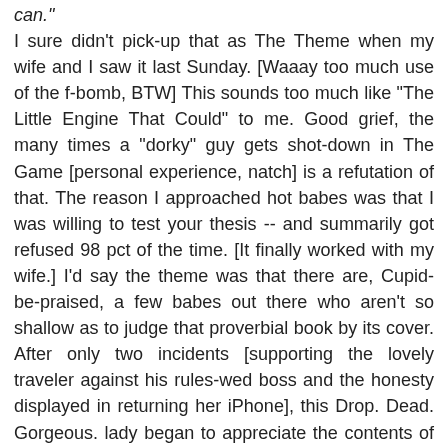can."
I sure didn't pick-up that as The Theme when my wife and I saw it last Sunday. [Waaay too much use of the f-bomb, BTW] This sounds too much like "The Little Engine That Could" to me. Good grief, the many times a "dorky" guy gets shot-down in The Game [personal experience, natch] is a refutation of that. The reason I approached hot babes was that I was willing to test your thesis -- and summarily got refused 98 pct of the time. [It finally worked with my wife.] I'd say the theme was that there are, Cupid-be-praised, a few babes out there who aren't so shallow as to judge that proverbial book by its cover. After only two incidents [supporting the lovely traveler against his rules-wed boss and the honesty displayed in returning her iPhone], this Drop. Dead. Gorgeous. lady began to appreciate the contents of that skinny book.
Reply
Jim 11:19 AM, March 18, 2010
Ekatz: